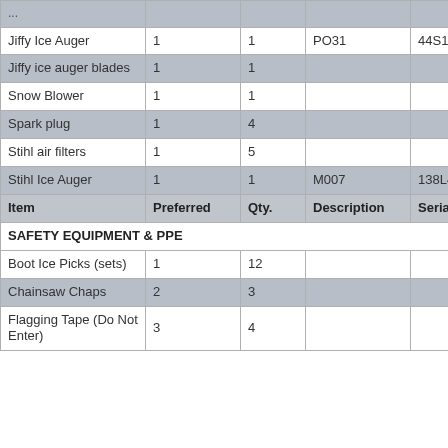| Item | Preferred | Qty. | Description | Serial # |
| --- | --- | --- | --- | --- |
| [partial top row] |  |  |  |  |
| Jiffy Ice Auger | 1 | 1 | PO31 | 44S100416045 |
| Jiffy ice auger blades | 1 | 1 |  |  |
| Snow Blower | 1 | 1 |  |  |
| Spark plug | 1 | 4 |  |  |
| Stihl air filters | 1 | 5 |  |  |
| Stihl Ice Auger | 1 | 1 | M007 | 138L42 |
| Item (header row) | Preferred | Qty. | Description | Serial # |
| SAFETY EQUIPMENT & PPE (section) |  |  |  |  |
| Boot Ice Picks (sets) | 1 | 12 |  |  |
| Chainsaw Chaps | 2 | 3 |  |  |
| Flagging Tape (Do Not Enter) | 3 | 4 |  |  |